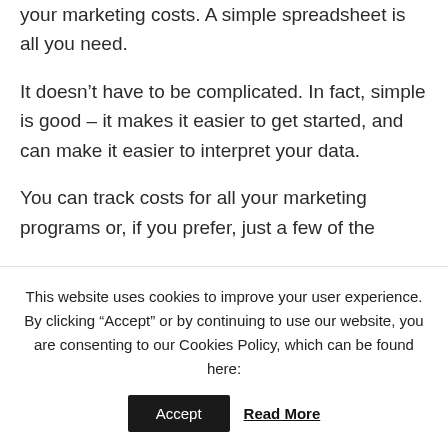your marketing costs. A simple spreadsheet is all you need.
It doesn’t have to be complicated. In fact, simple is good – it makes it easier to get started, and can make it easier to interpret your data.
You can track costs for all your marketing programs or, if you prefer, just a few of the
This website uses cookies to improve your user experience. By clicking “Accept” or by continuing to use our website, you are consenting to our Cookies Policy, which can be found here: